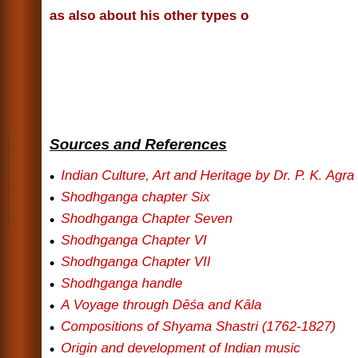as also about his other types o
Sources and References
Indian Culture, Art and Heritage by Dr. P. K. Agra
Shodhganga chapter Six
Shodhganga Chapter Seven
Shodhganga Chapter VI
Shodhganga Chapter VII
Shodhganga handle
A Voyage through Dēśa and Kāla
Compositions of Shyama Shastri (1762-1827)
Origin and development of Indian music
https://archive.org/stream/composers00ragh/co
https://archive.org/details/composers00ragh/pag